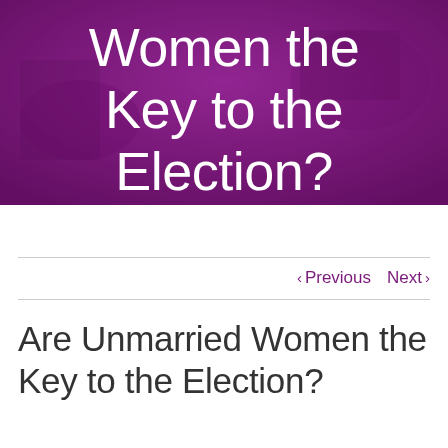[Figure (photo): Purple/magenta background hero image with text overlay showing partial title 'Women the Key to the Election?' in white sans-serif font on a purple background with faint photo of hands/documents underneath]
< Previous   Next >
Are Unmarried Women the Key to the Election?